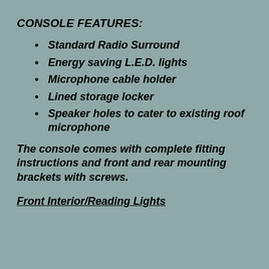CONSOLE FEATURES:
Standard Radio Surround
Energy saving L.E.D. lights
Microphone cable holder
Lined storage locker
Speaker holes to cater to existing roof microphone
The console comes with complete fitting instructions and front and rear mounting brackets with screws.
Front Interior/Reading Lights